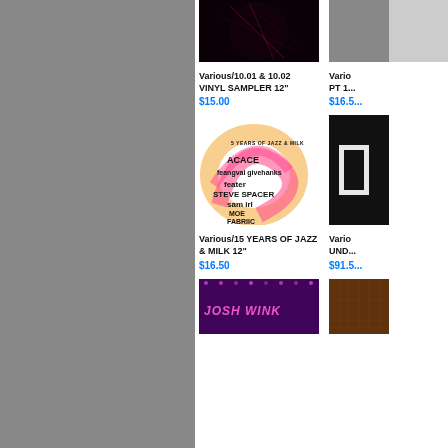[Figure (photo): Dark vinyl record cover with pink/red lines on black background]
Various/10.01 & 10.02 VINYL SAMPLER 12"
$15.00
[Figure (photo): Partially visible album cover on right side, grey/urban texture]
Various/... PT 1...
$16.5...
[Figure (illustration): 15 Years of Jazz & Milk artwork with stylized text: ACACE, feater, STEVE SPACER, sam irl, MOE FABRIIC on pink/orange abstract background]
Various/15 YEARS OF JAZZ & MILK 12"
$16.50
[Figure (photo): Dark fabric album cover with white graphic, partially visible on right]
Various/... UND...
$91.5...
[Figure (photo): Purple/pink textured album cover with JOSH WINK text]
[Figure (photo): Brown/orange textured album cover, partially visible on right]